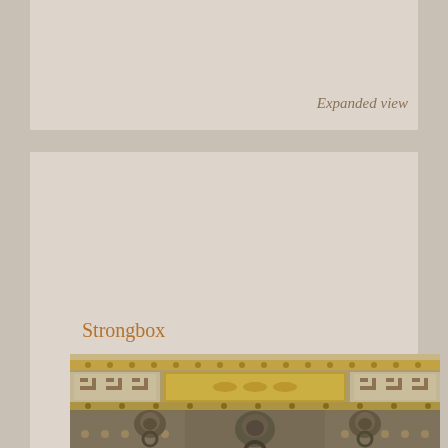Expanded view
Strongbox
[Figure (photo): Close-up photograph of an ornate ancient strongbox/chest. The box features decorative metal fittings with gold inlay, studded rivets, Greek key (meander) pattern panels, and three lion-head ring pulls. The central panel shows intricate gold vine and floral designs. The surface appears weathered and aged.]